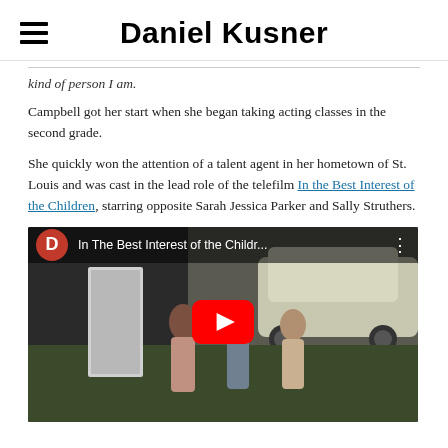Daniel Kusner
kind of person I am.
Campbell got her start when she began taking acting classes in the second grade.
She quickly won the attention of a talent agent in her hometown of St. Louis and was cast in the lead role of the telefilm In the Best Interest of the Children, starring opposite Sarah Jessica Parker and Sally Struthers.
[Figure (screenshot): YouTube video embed showing 'In The Best Interest of the Childr...' with a red YouTube play button overlay and thumbnail showing three girls standing near a car. Red circular D avatar in top-left corner.]